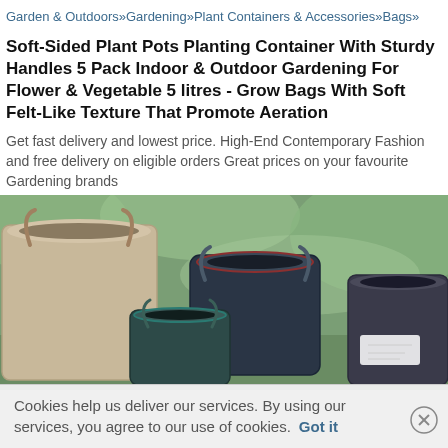Garden & Outdoors»Gardening»Plant Containers & Accessories»Bags»
Soft-Sided Plant Pots Planting Container With Sturdy Handles 5 Pack Indoor & Outdoor Gardening For Flower & Vegetable 5 litres - Grow Bags With Soft Felt-Like Texture That Promote Aeration
Get fast delivery and lowest price. High-End Contemporary Fashion and free delivery on eligible orders Great prices on your favourite Gardening brands
[Figure (photo): Multiple soft-sided fabric plant pots/grow bags of different sizes arranged outdoors, showing beige and dark navy/teal colors with handles, against a blurred green garden background.]
Cookies help us deliver our services. By using our services, you agree to our use of cookies. Got it